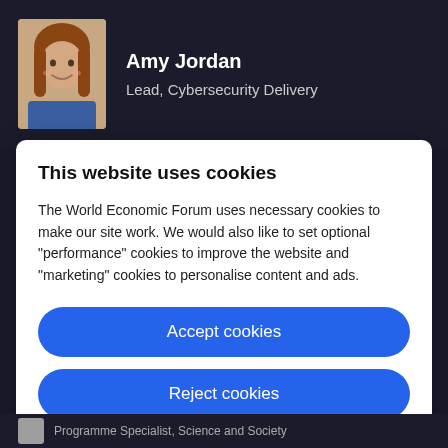[Figure (photo): Profile photo of Amy Jordan, a woman with brown hair, smiling]
Amy Jordan
Lead, Cybersecurity Delivery
This website uses cookies
The World Economic Forum uses necessary cookies to make our site work. We would also like to set optional "performance" cookies to improve the website and "marketing" cookies to personalise content and ads.
Accept cookies
Reject cookies
Cookie settings
Programme Specialist, Science and Society